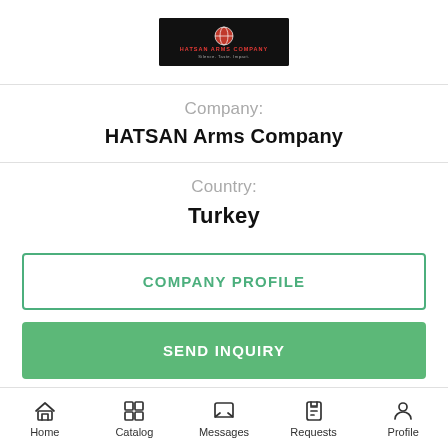[Figure (logo): HATSAN Arms Company logo — black background with red globe and white/red text]
Company:
HATSAN Arms Company
Country:
Turkey
COMPANY PROFILE
SEND INQUIRY
Home  Catalog  Messages  Requests  Profile